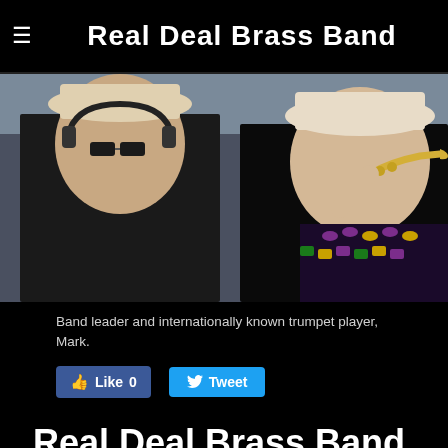Real Deal Brass Band
[Figure (photo): Two band members outdoors, one wearing sunglasses and headphones, another playing a trumpet and wearing colorful beaded necklaces and sequined outfit]
Band leader and internationally known trumpet player, Mark.
Like 0  Tweet
Real Deal Brass Band, Orlando, Florida premier second line wedding parade band in Sarasota, Saint